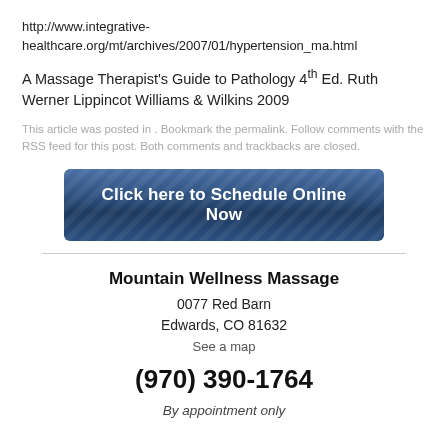http://www.integrative-healthcare.org/mt/archives/2007/01/hypertension_ma.html
A Massage Therapist's Guide to Pathology 4th Ed. Ruth Werner Lippincot Williams & Wilkins 2009
This article was posted in . Bookmark the permalink. Follow comments with the RSS feed for this post. Both comments and trackbacks are closed.
[Figure (other): Blue button with text: Click here to Schedule Online Now]
Mountain Wellness Massage
0077 Red Barn
Edwards, CO 81632
See a map
(970) 390-1764
By appointment only